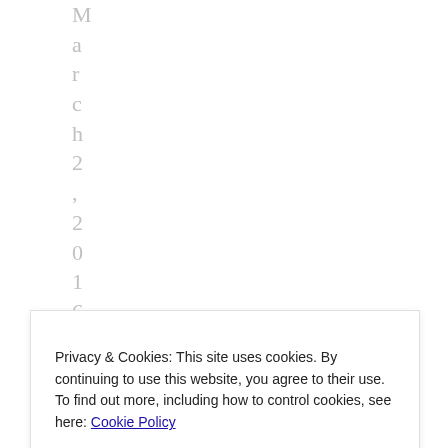March 2, 2016 | n "B
Privacy & Cookies: This site uses cookies. By continuing to use this website, you agree to their use.
To find out more, including how to control cookies, see here: Cookie Policy
Close and accept
i